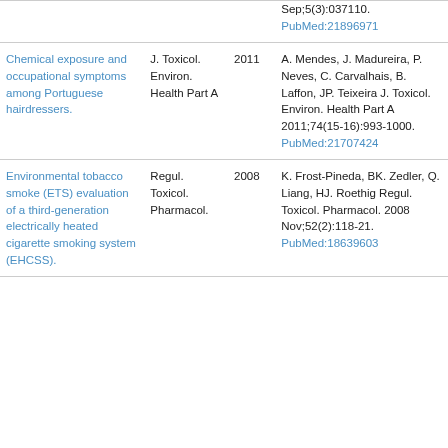| Title | Journal | Year | Reference |
| --- | --- | --- | --- |
| (partial top row) |  |  | Sep;5(3):037110.
PubMed:21896971 |
| Chemical exposure and occupational symptoms among Portuguese hairdressers. | J. Toxicol. Environ. Health Part A | 2011 | A. Mendes, J. Madureira, P. Neves, C. Carvalhais, B. Laffon, JP. Teixeira
J. Toxicol. Environ. Health Part A 2011;74(15-16):993-1000.
PubMed:21707424 |
| Environmental tobacco smoke (ETS) evaluation of a third-generation electrically heated cigarette smoking system (EHCSS). | Regul. Toxicol. Pharmacol. | 2008 | K. Frost-Pineda, BK. Zedler, Q. Liang, HJ. Roethig
Regul. Toxicol. Pharmacol. 2008 Nov;52(2):118-21.
PubMed:18639603 |